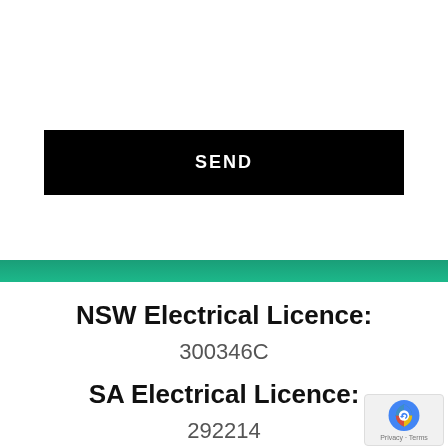[Figure (screenshot): A black SEND button on white background, above a teal/green horizontal bar]
NSW Electrical Licence:
300346C
SA Electrical Licence:
292214